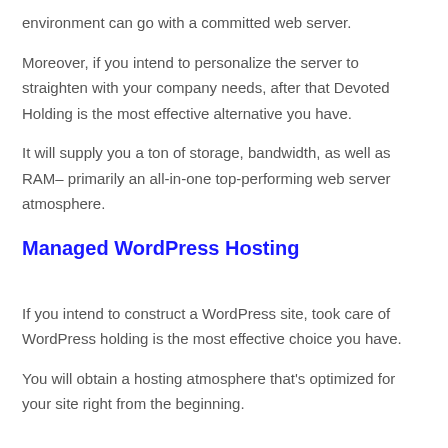environment can go with a committed web server.
Moreover, if you intend to personalize the server to straighten with your company needs, after that Devoted Holding is the most effective alternative you have.
It will supply you a ton of storage, bandwidth, as well as RAM– primarily an all-in-one top-performing web server atmosphere.
Managed WordPress Hosting
If you intend to construct a WordPress site, took care of WordPress holding is the most effective choice you have.
You will obtain a hosting atmosphere that's optimized for your site right from the beginning.